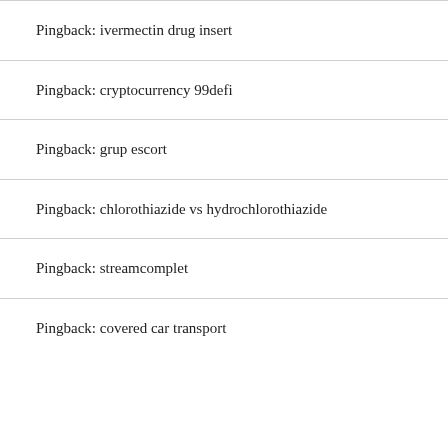Pingback: ivermectin drug insert
Pingback: cryptocurrency 99defi
Pingback: grup escort
Pingback: chlorothiazide vs hydrochlorothiazide
Pingback: streamcomplet
Pingback: covered car transport